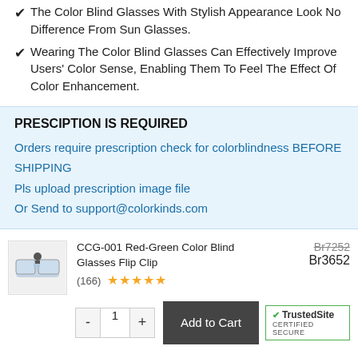The Color Blind Glasses With Stylish Appearance Look No Difference From Sun Glasses.
Wearing The Color Blind Glasses Can Effectively Improve Users' Color Sense, Enabling Them To Feel The Effect Of Color Enhancement.
PRESCIPTION IS REQUIRED
Orders require prescription check for colorblindness BEFORE SHIPPING
Pls upload prescription image file
Or Send to support@colorkinds.com
[Figure (photo): Product image of CCG-001 Red-Green Color Blind Glasses Flip Clip]
CCG-001 Red-Green Color Blind Glasses Flip Clip
(166)
★★★★★
Br7252
Br3652
[Figure (logo): TrustedSite CERTIFIED SECURE badge]